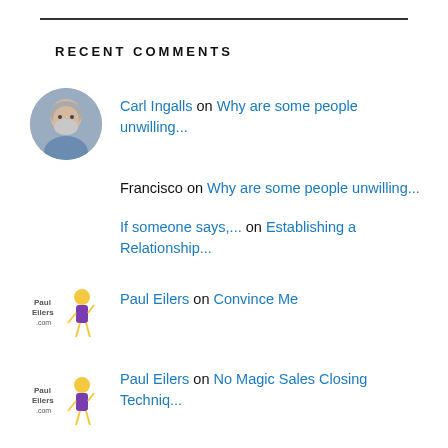RECENT COMMENTS
Carl Ingalls on Why are some people unwilling...
Francisco on Why are some people unwilling...
If someone says,... on Establishing a Relationship...
Paul Eilers on Convince Me
Paul Eilers on No Magic Sales Closing Techniq...